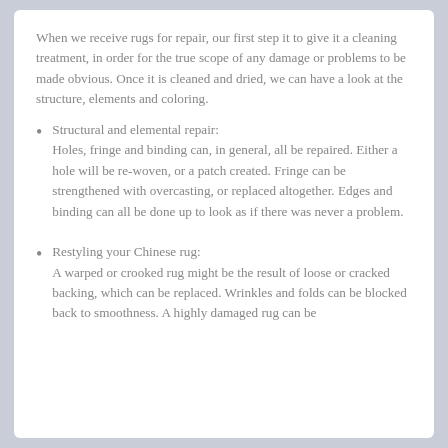When we receive rugs for repair, our first step it to give it a cleaning treatment, in order for the true scope of any damage or problems to be made obvious. Once it is cleaned and dried, we can have a look at the structure, elements and coloring.
Structural and elemental repair: Holes, fringe and binding can, in general, all be repaired. Either a hole will be re-woven, or a patch created. Fringe can be strengthened with overcasting, or replaced altogether. Edges and binding can all be done up to look as if there was never a problem.
Restyling your Chinese rug: A warped or crooked rug might be the result of loose or cracked backing, which can be replaced. Wrinkles and folds can be blocked back to smoothness. A highly damaged rug can be